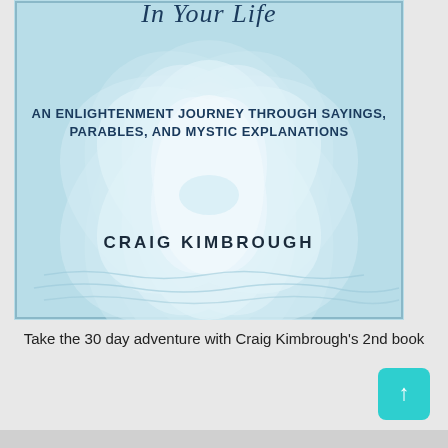[Figure (illustration): Book cover for Craig Kimbrough's 2nd book featuring a large light blue lotus flower on a teal/light blue background. Text on cover reads 'In Your Life' (partial, top), 'AN ENLIGHTENMENT JOURNEY THROUGH SAYINGS, PARABLES, AND MYSTIC EXPLANATIONS', and 'CRAIG KIMBROUGH' at the bottom.]
Take the 30 day adventure with Craig Kimbrough's 2nd book